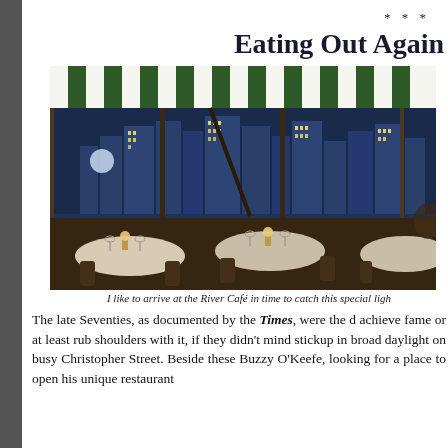* * *
Eating Out Again
[Figure (photo): Interior of the River Café restaurant at night, showing dining tables with white tablecloths and wine glasses, with a dramatic view of the illuminated Manhattan skyline across the water through large windows, with a striped green and white awning overhead.]
I like to arrive at the River Café in time to catch this special ligh
The late Seventies, as documented by the Times, were the c achieve fame or at least rub shoulders with it, if they didn't mind stickup in broad daylight on busy Christopher Street. Beside these Buzzy O'Keefe, looking for a place to open his unique restaurant